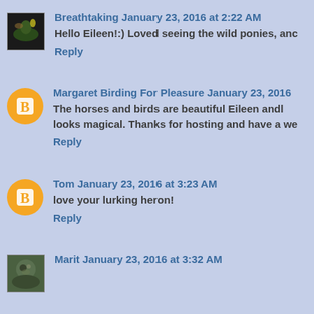Breathtaking January 23, 2016 at 2:22 AM
Hello Eileen!:) Loved seeing the wild ponies, an...
Reply
Margaret Birding For Pleasure January 23, 2016
The horses and birds are beautiful Eileen andl looks magical. Thanks for hosting and have a we...
Reply
Tom January 23, 2016 at 3:23 AM
love your lurking heron!
Reply
Marit January 23, 2016 at 3:32 AM